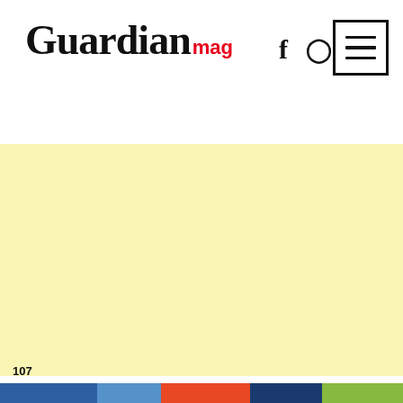Guardian mag — website header with logo, social icons (f, Pinterest), and hamburger menu button
[Figure (other): Large yellow/cream colored advertisement or content area placeholder]
107 — colored stripe bar at bottom (blue, light blue, orange, navy, green)